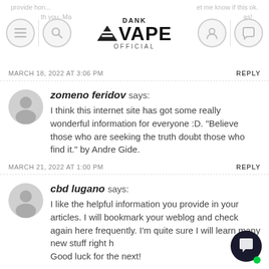DANK VAPE OFFICIAL
MARCH 18, 2022 AT 3:06 PM    REPLY
zomeno feridov says: I think this internet site has got some really wonderful information for everyone :D. "Believe those who are seeking the truth doubt those who find it." by Andre Gide.
MARCH 21, 2022 AT 1:00 PM    REPLY
cbd lugano says: I like the helpful information you provide in your articles. I will bookmark your weblog and check again here frequently. I'm quite sure I will learn many new stuff right here. Good luck for the next!